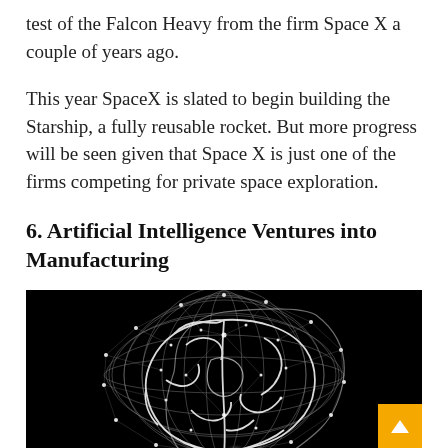test of the Falcon Heavy from the firm Space X a couple of years ago.
This year SpaceX is slated to begin building the Starship, a fully reusable rocket. But more progress will be seen given that Space X is just one of the firms competing for private space exploration.
6. Artificial Intelligence Ventures into Manufacturing
[Figure (photo): Black and white image of a human head profile filled with a glowing neural network / brain connectivity diagram against a black background. A yellow back-to-top arrow button is overlaid in the bottom right corner.]